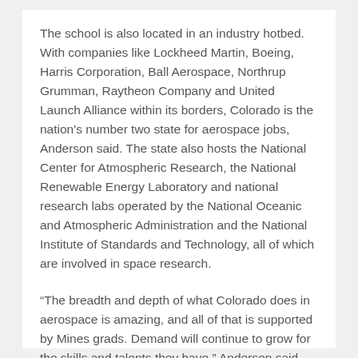The school is also located in an industry hotbed. With companies like Lockheed Martin, Boeing, Harris Corporation, Ball Aerospace, Northrup Grumman, Raytheon Company and United Launch Alliance within its borders, Colorado is the nation's number two state for aerospace jobs, Anderson said. The state also hosts the National Center for Atmospheric Research, the National Renewable Energy Laboratory and national research labs operated by the National Oceanic and Atmospheric Administration and the National Institute of Standards and Technology, all of which are involved in space research.
“The breadth and depth of what Colorado does in aerospace is amazing, and all of that is supported by Mines grads. Demand will continue to grow for the skills and talents they have,” Anderson said.